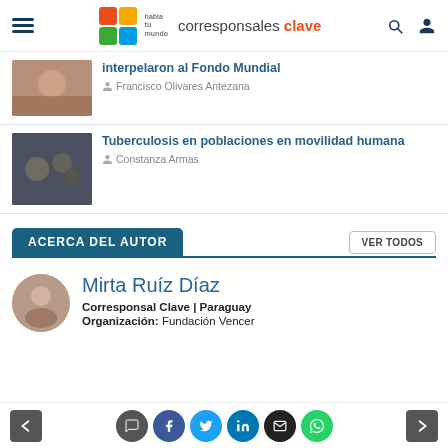corresponsales clave
interpelaron al Fondo Mundial
Francisco Olivares Antezana
Tuberculosis en poblaciones en movilidad humana
Constanza Armas
ACERCA DEL AUTOR
VER TODOS
Mirta Ruíz Díaz
Corresponsal Clave | Paraguay
Organización: Fundación Vencer
< > social icons